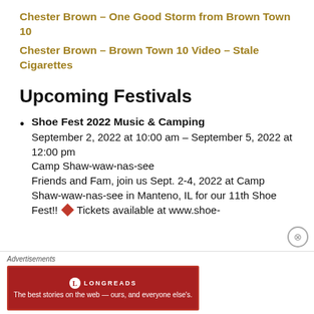Chester Brown – One Good Storm from Brown Town 10
Chester Brown – Brown Town 10 Video – Stale Cigarettes
Upcoming Festivals
Shoe Fest 2022 Music & Camping
September 2, 2022 at 10:00 am – September 5, 2022 at 12:00 pm
Camp Shaw-waw-nas-see
Friends and Fam, join us Sept. 2-4, 2022 at Camp Shaw-waw-nas-see in Manteno, IL for our 11th Shoe Fest!! ◆ Tickets available at www.shoe-
Advertisements
[Figure (logo): Longreads advertisement banner: red background with Longreads logo and tagline 'The best stories on the web — ours, and everyone else's.']